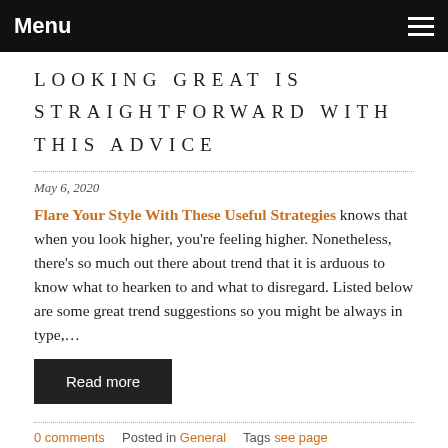Menu
LOOKING GREAT IS STRAIGHTFORWARD WITH THIS ADVICE
May 6, 2020
Flare Your Style With These Useful Strategies knows that when you look higher, you're feeling higher. Nonetheless, there's so much out there about trend that it is arduous to know what to hearken to and what to disregard. Listed below are some great trend suggestions so you might be always in type,…
Read more
0 comments   Posted in General   Tags see page